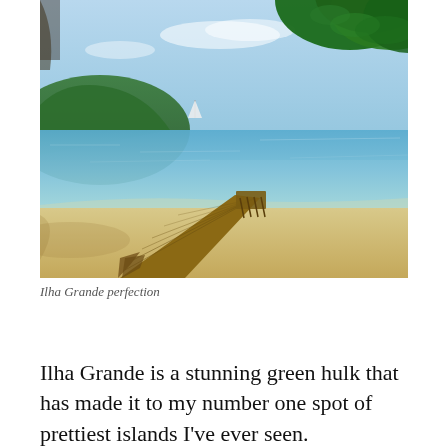[Figure (photo): A wooden dock/pier extending into calm turquoise water on a tropical beach (Ilha Grande, Brazil). Sandy beach in foreground with shadows, green tree foliage in upper right corner, green hills and a sailboat visible in background under a light blue sky.]
Ilha Grande perfection
Ilha Grande is a stunning green hulk that has made it to my number one spot of prettiest islands I've ever seen. Reluctantly we departed on a slow ferry to Angra dos Reis from where